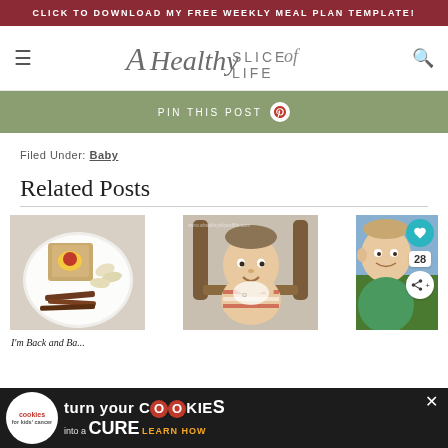CLICK TO DOWNLOAD MY FREE WEEKLY MEAL PLAN TEMPLATE!
[Figure (logo): A Healthy Slice of Life blog logo with italic script and uppercase text]
PIN THIS POST
Filed Under: Baby
Related Posts
[Figure (photo): Photo of toast with egg and toppings on a plate with sliced pears and meat strips]
[Figure (photo): Photo of a baby sitting in a high chair eating, with www.ahealthysliceoflife.com watermark]
[Figure (photo): Partial photo of a baby/toddler with social share buttons overlay showing heart icon and share count 28]
I'm Back and Ba...
[Figure (infographic): Advertisement banner: cookies for kids cancer - turn your cookies into a cure LEARN HOW]